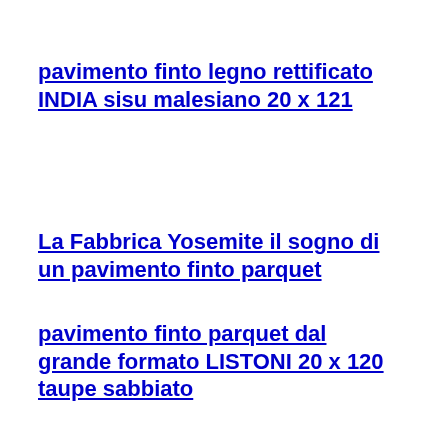pavimento finto legno rettificato INDIA sisu malesiano 20 x 121
La Fabbrica Yosemite il sogno di un pavimento finto parquet
pavimento finto parquet dal grande formato LISTONI 20 x 120 taupe sabbiato